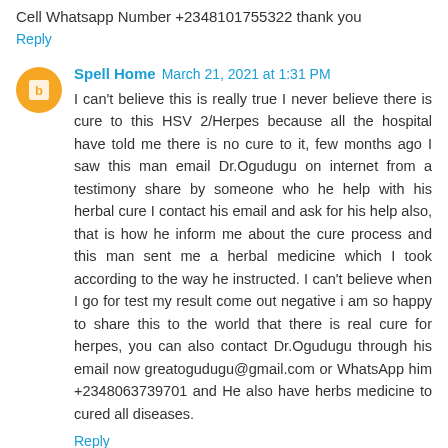Cell Whatsapp Number +2348101755322 thank you
Reply
Spell Home  March 21, 2021 at 1:31 PM
I can't believe this is really true I never believe there is cure to this HSV 2/Herpes because all the hospital have told me there is no cure to it, few months ago I saw this man email Dr.Ogudugu on internet from a testimony share by someone who he help with his herbal cure I contact his email and ask for his help also, that is how he inform me about the cure process and this man sent me a herbal medicine which I took according to the way he instructed. I can't believe when I go for test my result come out negative i am so happy to share this to the world that there is real cure for herpes, you can also contact Dr.Ogudugu through his email now greatogudugu@gmail.com or WhatsApp him +2348063739701 and He also have herbs medicine to cured all diseases.
Reply